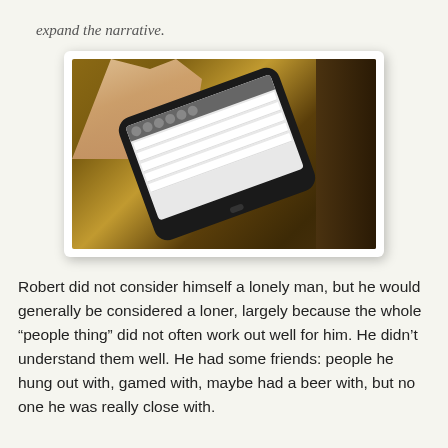expand the narrative.
[Figure (photo): A hand holding an Android smartphone tilted at an angle, displaying what appears to be a messaging or contacts app on the screen, resting on a brown surface.]
Robert did not consider himself a lonely man, but he would generally be considered a loner, largely because the whole “people thing” did not often work out well for him. He didn’t understand them well. He had some friends: people he hung out with, gamed with, maybe had a beer with, but no one he was really close with.